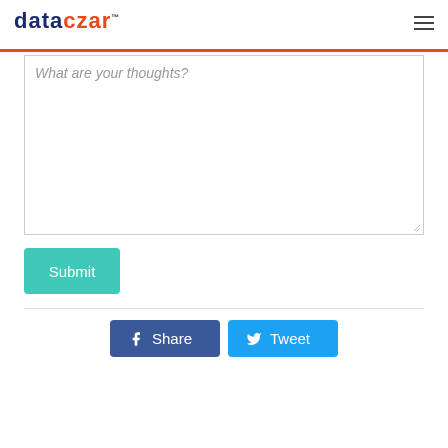DataCzar logo and navigation
[Figure (logo): DataCzar logo with 'data' in dark blue and 'czar' in orange, with TM mark]
What are your thoughts?
Submit
Share
Tweet